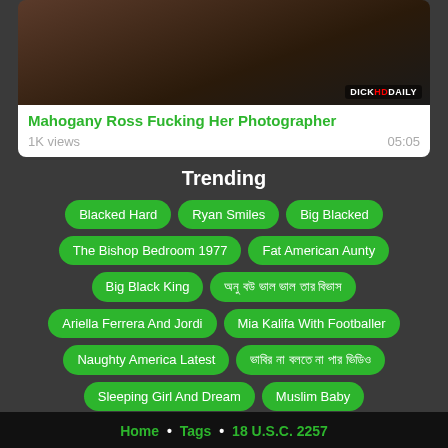[Figure (photo): Thumbnail image of video with DICKHDAILY watermark]
Mahogany Ross Fucking Her Photographer
1K views	05:05
Trending
Blacked Hard
Ryan Smiles
Big Blacked
The Bishop Bedroom 1977
Fat American Aunty
Big Black King
অনু বউ ভাল ভাল তার বিভাস
Ariella Ferrera And Jordi
Mia Kalifa With Footballer
Naughty America Latest
ভাবির না বলতে না পার ভিডিও
Sleeping Girl And Dream
Muslim Baby
Morning Romantic Fuck
Las Más Gritonas
Home • Tags • 18 U.S.C. 2257